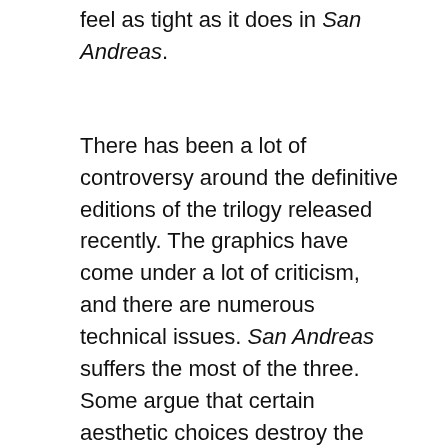feel as tight as it does in San Andreas.
There has been a lot of controversy around the definitive editions of the trilogy released recently. The graphics have come under a lot of criticism, and there are numerous technical issues. San Andreas suffers the most of the three. Some argue that certain aesthetic choices destroy the PS2 game's unique vibe.
On the other side of the coin is Vice City, which fares better with the upgrades. Character models still look strange at times, but the overall look of the city is improved.
San Andreas forces players to pay close attention to CJ's stats. If he goes too long without eating, he grows weaker. But if players feed him too much he